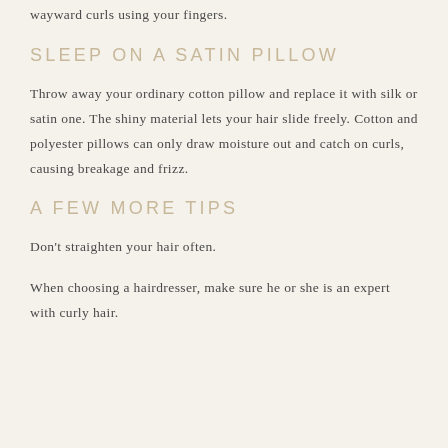wayward curls using your fingers.
SLEEP ON A SATIN PILLOW
Throw away your ordinary cotton pillow and replace it with silk or satin one. The shiny material lets your hair slide freely. Cotton and polyester pillows can only draw moisture out and catch on curls, causing breakage and frizz.
A FEW MORE TIPS
Don't straighten your hair often.
When choosing a hairdresser, make sure he or she is an expert with curly hair.